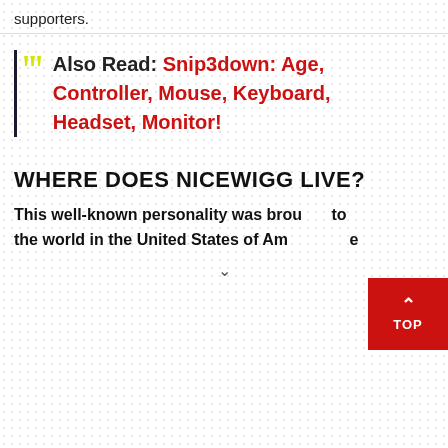supporters.
Also Read: Snip3down: Age, Controller, Mouse, Keyboard, Headset, Monitor!
WHERE DOES NICEWIGG LIVE?
This well-known personality was brought to the world in the United States of America, the